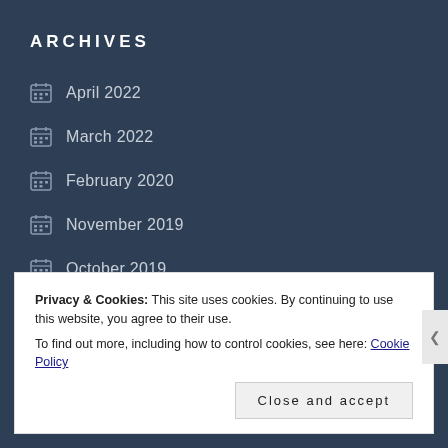ARCHIVES
April 2022
March 2022
February 2020
November 2019
October 2019
September 2019
August 2019
Privacy & Cookies: This site uses cookies. By continuing to use this website, you agree to their use.
To find out more, including how to control cookies, see here: Cookie Policy
Close and accept